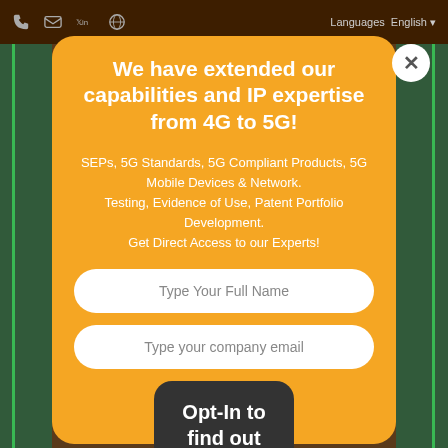Languages English
We have extended our capabilities and IP expertise from 4G to 5G!
SEPs, 5G Standards, 5G Compliant Products, 5G Mobile Devices & Network.
Testing, Evidence of Use, Patent Portfolio Development.
Get Direct Access to our Experts!
Type Your Full Name
Type your company email
Opt-In to find out more!